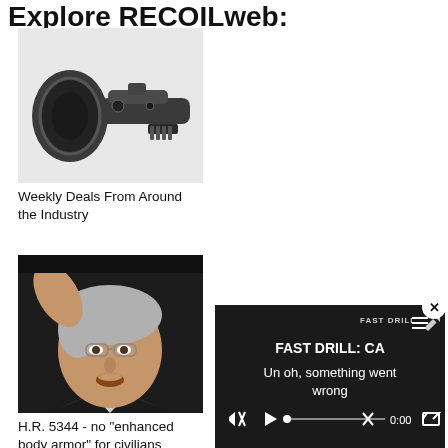Explore RECOILweb:
[Figure (photo): Close-up photo of a tactical rifle scope / thermal imaging sight, dark grey, on white background]
Weekly Deals From Around the Industry
[Figure (photo): Photo of an older Asian man with gray hair and glasses pointing finger toward camera, speaking, dark background]
H.R. 5344 - no "enhanced body armor" for civilians
[Figure (screenshot): Video player overlay showing 'FAST DRILL: CA' title with error message 'Un oh, something went wrong' and playback controls at 0:00]